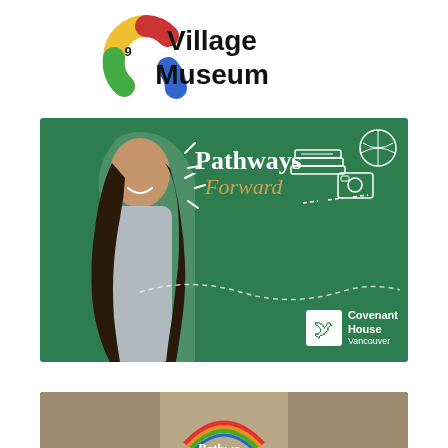[Figure (logo): 9th Village Museum logo with colorful circular icon and text 'Village Museum']
[Figure (illustration): Pathways Forward promotional image for Covenant House Vancouver. Green background with a smiling young woman with braids on the left, text 'Pathways Forward' in white and gold script, illustrated books, basketball, and camera icons, Covenant House Vancouver logo in bottom right.]
[Figure (photo): Partial view of a person wearing an apron with a rainbow design and text partially visible, appears to be another Covenant House related image.]